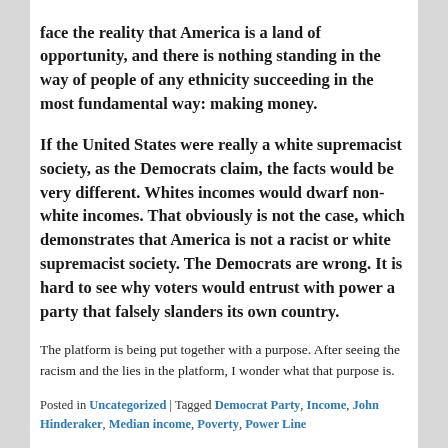face the reality that America is a land of opportunity, and there is nothing standing in the way of people of any ethnicity succeeding in the most fundamental way: making money.
If the United States were really a white supremacist society, as the Democrats claim, the facts would be very different. Whites incomes would dwarf non-white incomes. That obviously is not the case, which demonstrates that America is not a racist or white supremacist society. The Democrats are wrong. It is hard to see why voters would entrust with power a party that falsely slanders its own country.
The platform is being put together with a purpose. After seeing the racism and the lies in the platform, I wonder what that purpose is.
Posted in Uncategorized | Tagged Democrat Party, Income, John Hinderaker, Median income, Poverty, Power Line